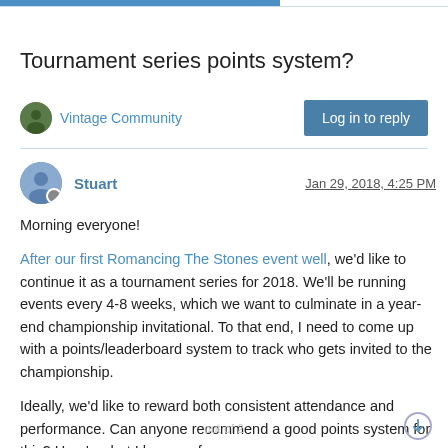Tournament series points system?
Vintage Community
Log in to reply
Stuart  Jan 29, 2018, 4:25 PM
Morning everyone!
After our first Romancing The Stones event well, we'd like to continue it as a tournament series for 2018. We'll be running events every 4-8 weeks, which we want to culminate in a year-end championship invitational. To that end, I need to come up with a points/leaderboard system to track who gets invited to the championship.
Ideally, we'd like to reward both consistent attendance and performance. Can anyone recommend a good points system for this? Here's what I have so far: